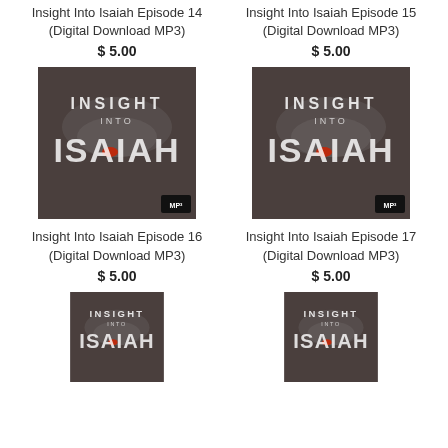Insight Into Isaiah Episode 14 (Digital Download MP3)
$ 5.00
Insight Into Isaiah Episode 15 (Digital Download MP3)
$ 5.00
[Figure (photo): Insight Into Isaiah Episode 16 album cover with MP3 logo]
Insight Into Isaiah Episode 16 (Digital Download MP3)
$ 5.00
[Figure (photo): Insight Into Isaiah Episode 17 album cover with MP3 logo]
Insight Into Isaiah Episode 17 (Digital Download MP3)
$ 5.00
[Figure (photo): Insight Into Isaiah Episode 18 album cover (partially visible)]
[Figure (photo): Insight Into Isaiah Episode 19 album cover (partially visible)]